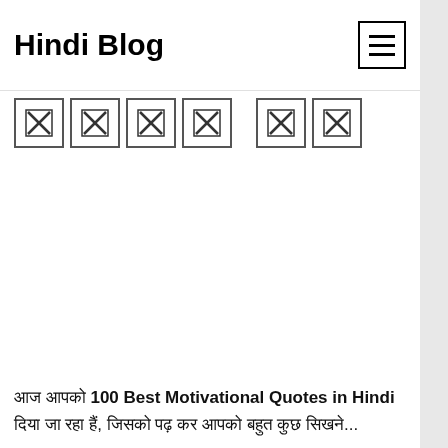Hindi Blog
[Figure (other): Row of broken/missing image placeholders (6 broken image icons with X marks)]
आज आपको 100 Best Motivational Quotes in Hindi दिया जा रहा हैं, जिसको पढ़ कर आपको बहुत कुछ सिखने...